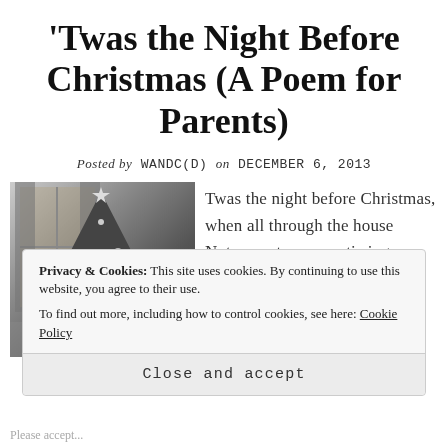'Twas the Night Before Christmas (A Poem for Parents)
Posted by WANDC(D) on DECEMBER 6, 2013
[Figure (photo): Black and white photograph of a decorated Christmas tree near a window with curtains]
Twas the night before Christmas, when all through the house Not a creature was stirring, not even a mouse
Privacy & Cookies: This site uses cookies. By continuing to use this website, you agree to their use.
To find out more, including how to control cookies, see here: Cookie Policy
Close and accept